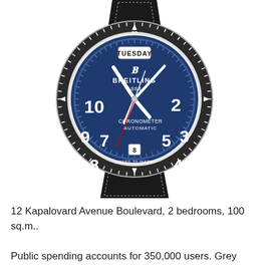[Figure (photo): Breitling 1884 Chronometer Automatic watch with blue dial showing TUESDAY, white Arabic numerals, date window at 6 o'clock, stainless steel case with tachymeter bezel, and black leather strap with cream stitching.]
12 Kapalovard Avenue Boulevard, 2 bedrooms, 100 sq.m..
Public spending accounts for 350,000 users. Grey